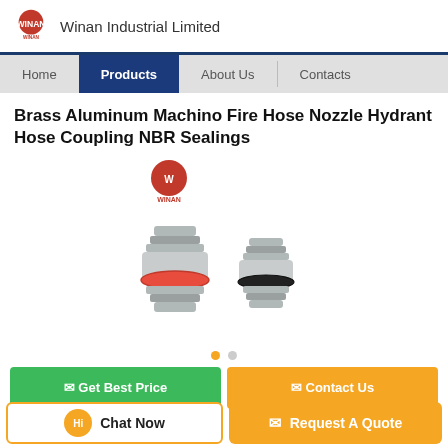Winan Industrial Limited
Brass Aluminum Machino Fire Hose Nozzle Hydrant Hose Coupling NBR Sealings
[Figure (photo): Two stainless steel hose couplings/connectors with grooved ends; one has a red NBR sealing ring, the other has a black NBR sealing ring. The Winan logo appears above the products.]
Chat Now | Request A Quote